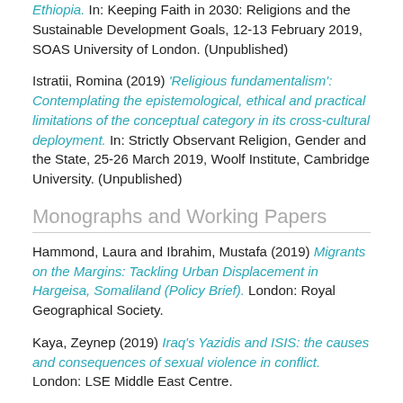Ethiopia. In: Keeping Faith in 2030: Religions and the Sustainable Development Goals, 12-13 February 2019, SOAS University of London. (Unpublished)
Istratii, Romina (2019) 'Religious fundamentalism': Contemplating the epistemological, ethical and practical limitations of the conceptual category in its cross-cultural deployment. In: Strictly Observant Religion, Gender and the State, 25-26 March 2019, Woolf Institute, Cambridge University. (Unpublished)
Monographs and Working Papers
Hammond, Laura and Ibrahim, Mustafa (2019) Migrants on the Margins: Tackling Urban Displacement in Hargeisa, Somaliland (Policy Brief). London: Royal Geographical Society.
Kaya, Zeynep (2019) Iraq's Yazidis and ISIS: the causes and consequences of sexual violence in conflict. London: LSE Middle East Centre.